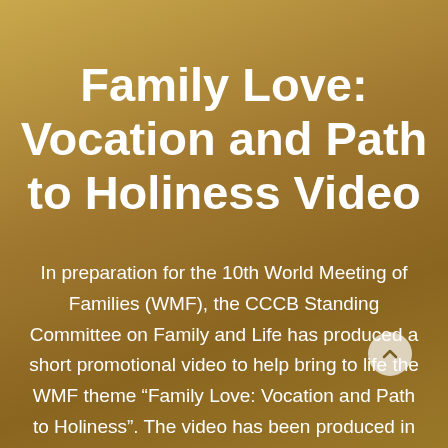Family Love: Vocation and Path to Holiness Video
In preparation for the 10th World Meeting of Families (WMF), the CCCB Standing Committee on Family and Life has produced a short promotional video to help bring to life the WMF theme “Family Love: Vocation and Path to Holiness”. The video has been produced in both English and French and can be viewed here: